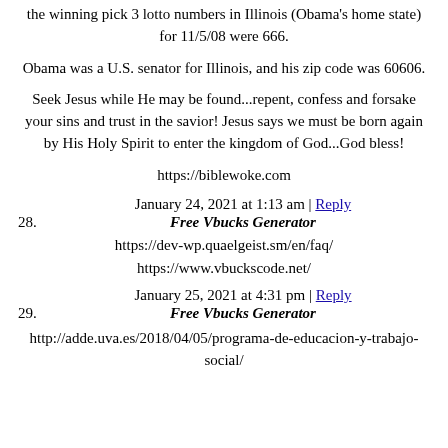the winning pick 3 lotto numbers in Illinois (Obama's home state) for 11/5/08 were 666.
Obama was a U.S. senator for Illinois, and his zip code was 60606.
Seek Jesus while He may be found...repent, confess and forsake your sins and trust in the savior! Jesus says we must be born again by His Holy Spirit to enter the kingdom of God...God bless!
https://biblewoke.com
28. January 24, 2021 at 1:13 am | Reply
Free Vbucks Generator
https://dev-wp.quaelgeist.sm/en/faq/
https://www.vbuckscode.net/
29. January 25, 2021 at 4:31 pm | Reply
Free Vbucks Generator
http://adde.uva.es/2018/04/05/programa-de-educacion-y-trabajo-social/